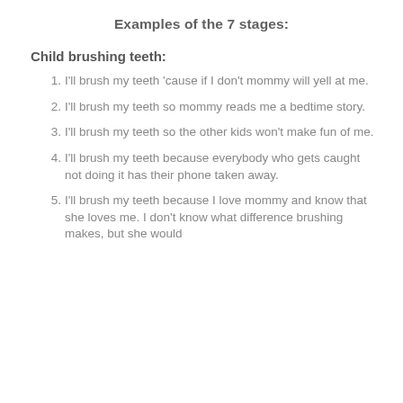Examples of the 7 stages:
Child brushing teeth:
I'll brush my teeth 'cause if I don't mommy will yell at me.
I'll brush my teeth so mommy reads me a bedtime story.
I'll brush my teeth so the other kids won't make fun of me.
I'll brush my teeth because everybody who gets caught not doing it has their phone taken away.
I'll brush my teeth because I love mommy and know that she loves me. I don't know what difference brushing makes, but she would